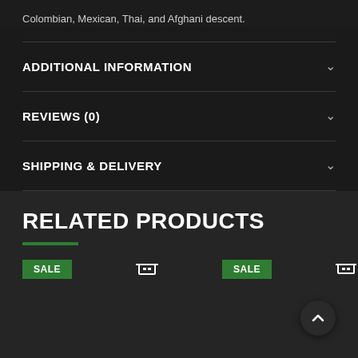Colombian, Mexican, Thai, and Afghani descent.
ADDITIONAL INFORMATION
REVIEWS (0)
SHIPPING & DELIVERY
RELATED PRODUCTS